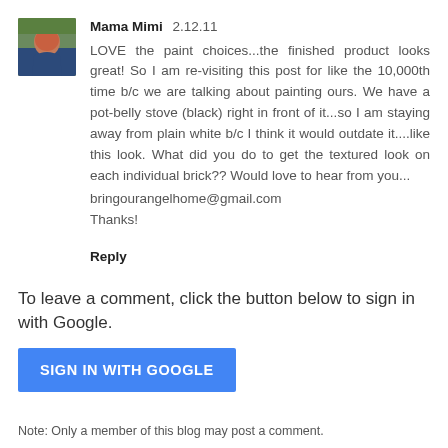Mama Mimi 2.12.11
LOVE the paint choices...the finished product looks great! So I am re-visiting this post for like the 10,000th time b/c we are talking about painting ours. We have a pot-belly stove (black) right in front of it...so I am staying away from plain white b/c I think it would outdate it....like this look. What did you do to get the textured look on each individual brick?? Would love to hear from you...
bringourangelhome@gmail.com
Thanks!
Reply
To leave a comment, click the button below to sign in with Google.
[Figure (other): Blue button labeled SIGN IN WITH GOOGLE]
Note: Only a member of this blog may post a comment.